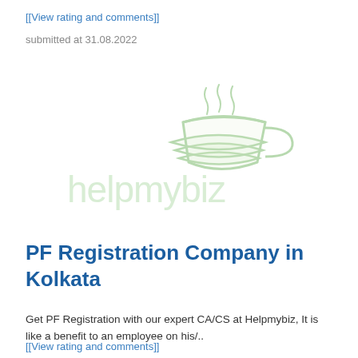[[View rating and comments]]
submitted at 31.08.2022
[Figure (logo): Helpmybiz logo in light green outline style with tea cup graphic]
PF Registration Company in Kolkata
Get PF Registration with our expert CA/CS at Helpmybiz, It is like a benefit to an employee on his/..
[[View rating and comments]]